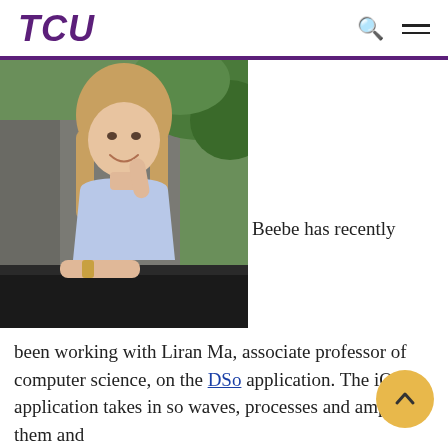TCU
[Figure (photo): Young woman with blonde hair smiling, sitting at a dark wicker table outdoors with green foliage in the background, wearing a light blue t-shirt]
Beebe has recently been working with Liran Ma, associate professor of computer science, on the DSo application. The iOS application takes in so waves, processes and amplifies them and